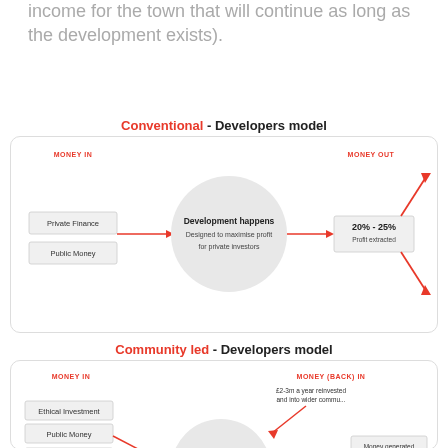income for the town that will continue as long as the development exists).
Conventional - Developers model
[Figure (flowchart): Conventional Developers model flowchart showing money in (Private Finance, Public Money) flowing through a circle (Development happens - Designed to maximise profit for private investors) to money out (20%-25% Profit extracted) with arrows up and down]
Community led - Developers model
[Figure (flowchart): Community led Developers model flowchart showing money in (Ethical Investment, Public Money, Trusts and Foundations support) flowing through a circle (Development happens - Designed by community) to money back in (£2-3m a year reinvested and into wider community, Money generated reinvested into scheme)]